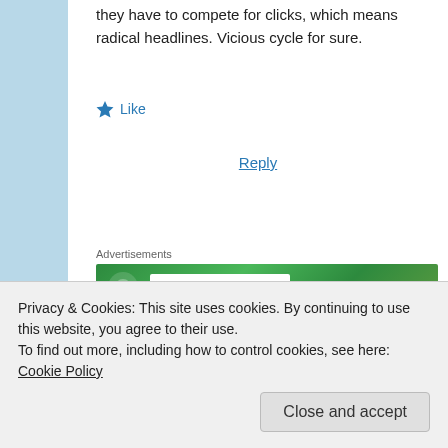they have to compete for clicks, which means radical headlines. Vicious cycle for sure.
★ Like
Reply
Advertisements
[Figure (screenshot): Green advertisement banner with circular icon and white input box]
[Figure (photo): Circular avatar photo of Denise D Hammond, a woman with short gray-brown hair]
Denise D Hammond
April 2, 2015 at 11:27 am
Privacy & Cookies: This site uses cookies. By continuing to use this website, you agree to their use.
To find out more, including how to control cookies, see here: Cookie Policy
Close and accept